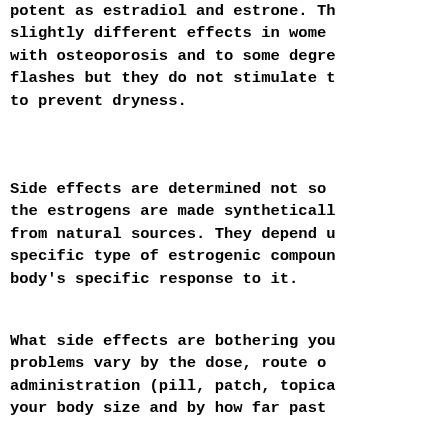potent as estradiol and estrone. They have slightly different effects in women, helping with osteoporosis and to some degree hot flashes but they do not stimulate the vagina to prevent dryness.
Side effects are determined not so much by whether the estrogens are made synthetically or from natural sources. They depend upon the specific type of estrogenic compound and your body's specific response to it.
What side effects are bothering you? These problems vary by the dose, route of administration (pill, patch, topical gel), your body size and by how far past menopause you are. Hot flashes are the most common